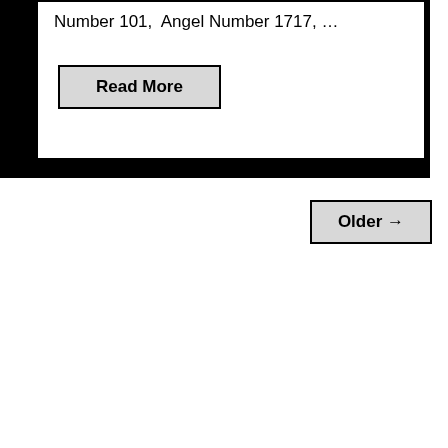Number 101,  Angel Number 1717, …
Read More
Older →